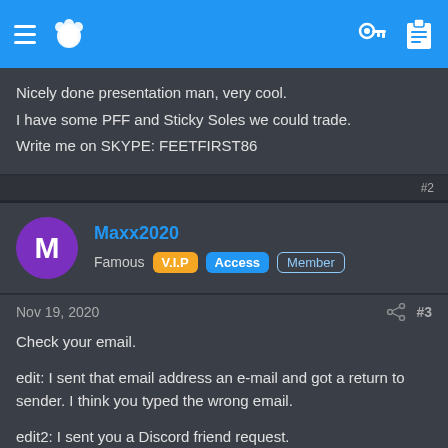Navigation bar with hamburger menu, paw logo, key and clipboard icons
Nicely done presentation man, very cool.
I have some PFF and Sticky Soles we could trade.
Write me on SKYPE: FEETFIRST86
Maxx2020
Famous V.I.P Access Member
Nov 19, 2020  #3
Check your email.

edit: I sent that email address an e-mail and got a return to sender. I think you typed the wrong email.

edit2: I sent you a Discord friend request.
FEETFIRST